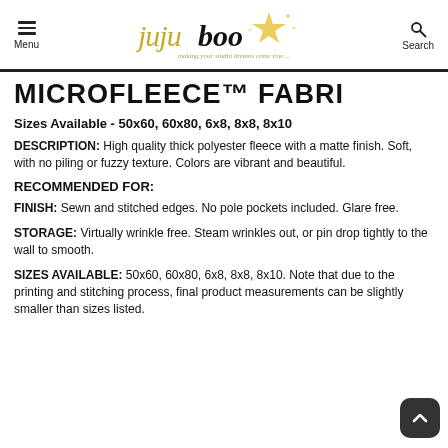Menu | jujuboo making your studio dreams come true... | Search
MICROFLEECE™ FABRI
Sizes Available - 50x60, 60x80, 6x8, 8x8, 8x10
DESCRIPTION: High quality thick polyester fleece with a matte finish. Soft, with no piling or fuzzy texture. Colors are vibrant and beautiful.
RECOMMENDED FOR:
FINISH: Sewn and stitched edges. No pole pockets included. Glare free.
STORAGE: Virtually wrinkle free. Steam wrinkles out, or pin drop tightly to the wall to smooth.
SIZES AVAILABLE: 50x60, 60x80, 6x8, 8x8, 8x10. Note that due to the printing and stitching process, final product measurements can be slightly smaller than sizes listed.